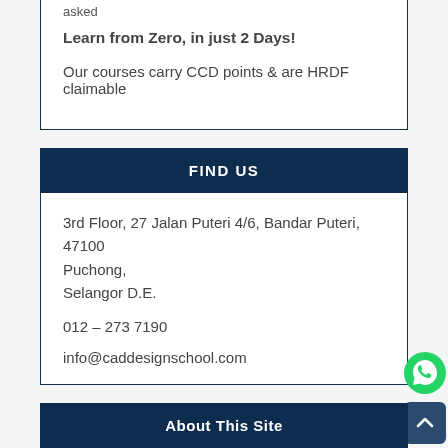asked
Learn from  Zero, in just 2 Days!
Our courses carry CCD points & are HRDF claimable
FIND US
3rd Floor, 27 Jalan Puteri 4/6, Bandar Puteri, 47100 Puchong,
Selangor D.E.
012 – 273 7190
info@caddesignschool.com
About This Site